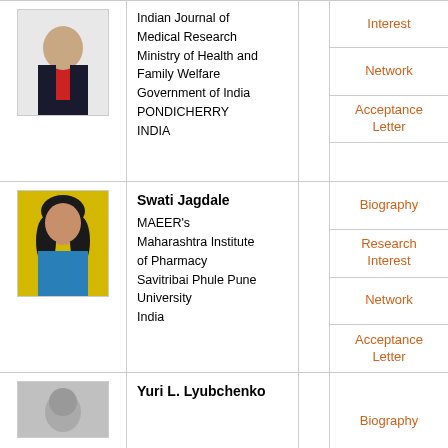| Photo | Name/Affiliation |  | Links |
| --- | --- | --- | --- |
| [photo] | Indian Journal of Medical Research
Ministry of Health and Family Welfare
Government of India
PONDICHERRY
INDIA |  | Interest
Network
Acceptance Letter |
| [photo] | Swati Jagdale
MAEER's Maharashtra Institute of Pharmacy
Savitribai Phule Pune University
India |  | Biography
Research Interest
Network
Acceptance Letter |
| [photo] | Yuri L. Lyubchenko |  | Biography |